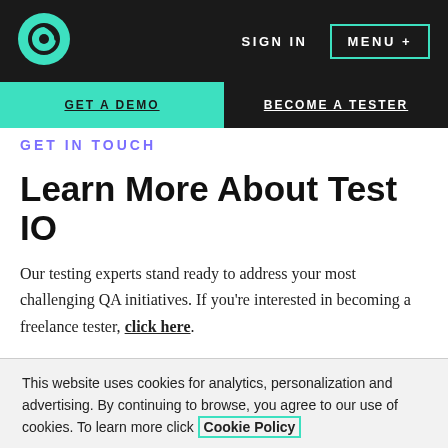[Figure (logo): Test IO logo — teal circle with stylized 'io' icon]
SIGN IN   MENU +
GET A DEMO   BECOME A TESTER
GET IN TOUCH
Learn More About Test IO
Our testing experts stand ready to address your most challenging QA initiatives. If you're interested in becoming a freelance tester, click here.
This website uses cookies for analytics, personalization and advertising. By continuing to browse, you agree to our use of cookies. To learn more click Cookie Policy
Cookies Settings   ACCEPT ALL